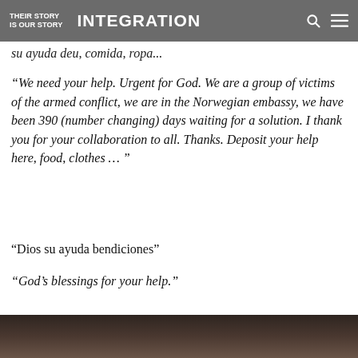THEIR STORY IS OUR STORY — INTEGRATION
su ayuda deu, comida, ropa...
“We need your help. Urgent for God. We are a group of victims of the armed conflict, we are in the Norwegian embassy, we have been 390 (number changing) days waiting for a solution. I thank you for your collaboration to all. Thanks. Deposit your help here, food, clothes … ”
“Dios su ayuda bendiciones”
“God’s blessings for your help.”
[Figure (photo): Partial photo of people, cropped at bottom of page, dark tones]